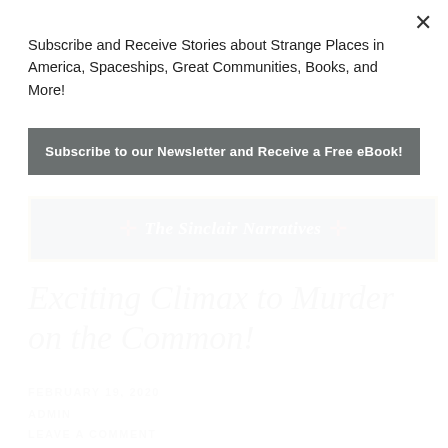Subscribe and Receive Stories about Strange Places in America, Spaceships, Great Communities, Books, and More!
Subscribe to our Newsletter and Receive a Free eBook!
[Figure (illustration): The Sinclair Narratives banner on dark navy background with red cross symbols on left and right, gold border]
Exciting Climax to Murder on the Common!
FEBRUARY 19, 2020
ADMIN
LEAVE A COMMENT